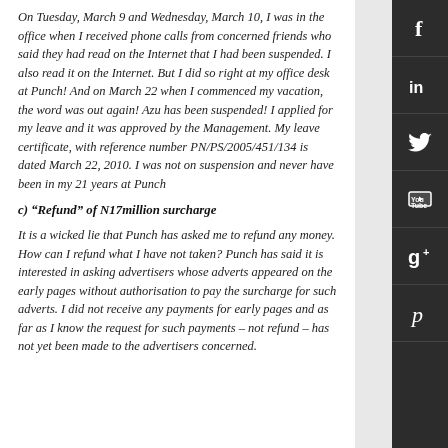On Tuesday, March 9 and Wednesday, March 10, I was in the office when I received phone calls from concerned friends who said they had read on the Internet that I had been suspended. I also read it on the Internet. But I did so right at my office desk at Punch! And on March 22 when I commenced my vacation, the word was out again! Azu has been suspended! I applied for my leave and it was approved by the Management. My leave certificate, with reference number PN/PS/2005/451/134 is dated March 22, 2010. I was not on suspension and never have been in my 21 years at Punch
c) “Refund” of N17million surcharge
It is a wicked lie that Punch has asked me to refund any money. How can I refund what I have not taken? Punch has said it is interested in asking advertisers whose adverts appeared on the early pages without authorisation to pay the surcharge for such adverts. I did not receive any payments for early pages and as far as I know the request for such payments – not refund – has not yet been made to the advertisers concerned.
[Figure (other): Vertical sidebar with social media icons: Facebook, LinkedIn, Twitter, YouTube, Google+, Pinterest]